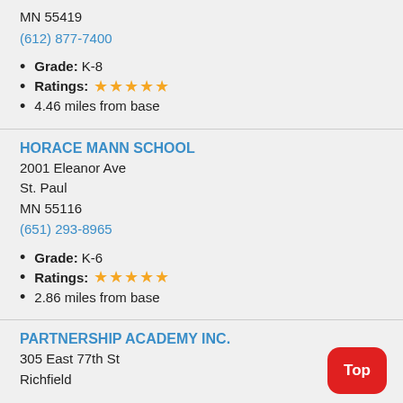MN 55419
(612) 877-7400
Grade: K-8
Ratings: ★★★★★
4.46 miles from base
HORACE MANN SCHOOL
2001 Eleanor Ave
St. Paul
MN 55116
(651) 293-8965
Grade: K-6
Ratings: ★★★★★
2.86 miles from base
PARTNERSHIP ACADEMY INC.
305 East 77th St
Richfield